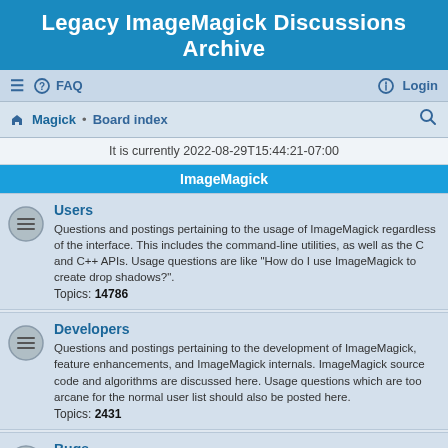Legacy ImageMagick Discussions Archive
≡  FAQ    Login
Magick · Board index
It is currently 2022-08-29T15:44:21-07:00
ImageMagick
Users
Questions and postings pertaining to the usage of ImageMagick regardless of the interface. This includes the command-line utilities, as well as the C and C++ APIs. Usage questions are like "How do I use ImageMagick to create drop shadows?".
Topics: 14786
Developers
Questions and postings pertaining to the development of ImageMagick, feature enhancements, and ImageMagick internals. ImageMagick source code and algorithms are discussed here. Usage questions which are too arcane for the normal user list should also be posted here.
Topics: 2431
Bugs
Post any defects you find in the released or beta versions of the ImageMagick software here. Include the ImageMagick version, OS, and any command-line required to reproduce the problem. Got a patch for a bug? Post it here.
Topics: 4991
Consulting
Do you need consulting from ImageMagick experts and are willing to pay for